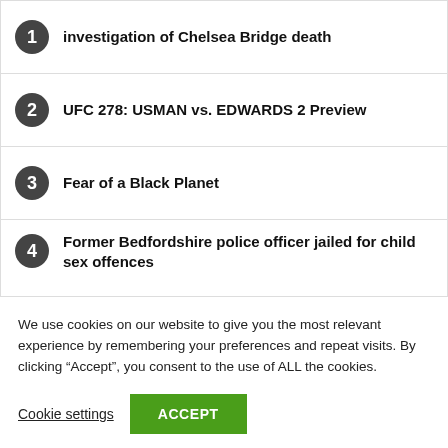1. investigation of Chelsea Bridge death
2. UFC 278: USMAN vs. EDWARDS 2 Preview
3. Fear of a Black Planet
4. Former Bedfordshire police officer jailed for child sex offences
5. Reginaldo Vieira steps in for KSW 73 Co-Main Event
We use cookies on our website to give you the most relevant experience by remembering your preferences and repeat visits. By clicking “Accept”, you consent to the use of ALL the cookies.
Cookie settings | ACCEPT